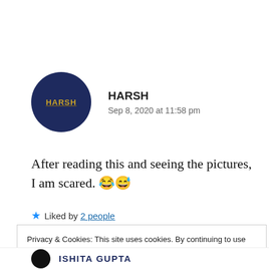[Figure (illustration): Dark navy blue circular avatar with 'HARSH' text in gold/yellow with underline, representing the commenter's profile picture]
HARSH
Sep 8, 2020 at 11:58 pm
After reading this and seeing the pictures, I am scared. 😂😅
★ Liked by 2 people
Privacy & Cookies: This site uses cookies. By continuing to use this website, you agree to their use.
To find out more, including how to control cookies, see here: Cookie Policy
Close and accept
ISHITA GUPTA